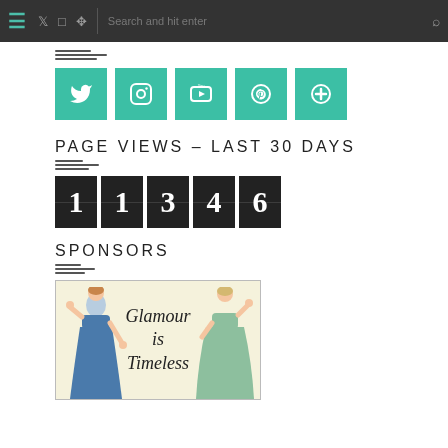Navigation bar with hamburger menu, social icons (Twitter, Instagram, Pinterest), search bar
[Figure (illustration): Decorative horizontal stacked lines]
[Figure (illustration): Five teal/green square social media buttons: Twitter, Instagram, YouTube, Pinterest, and a plus/add button]
PAGE VIEWS - LAST 30 DAYS
[Figure (other): Flip counter showing digits 1, 1, 3, 4, 6]
SPONSORS
[Figure (illustration): Sponsor advertisement image showing two vintage-style women in formal dresses (one blue, one green) with text 'Glamour is Timeless' on a light yellow background, framed with a border]